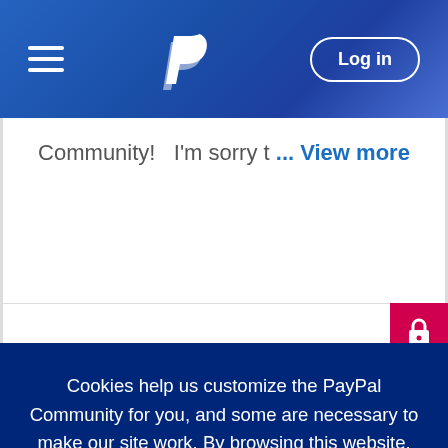[Figure (screenshot): PayPal website header with hamburger menu on left, PayPal 'P' logo in center, and 'Log in' button with white outline on right, all on a blue gradient background]
Community!   I'm sorry t ... View more
[Figure (other): Pink/red lock icon badge in bottom right corner of white content area]
Cookies help us customize the PayPal Community for you, and some are necessary to make our site work. By browsing this website, you consent to the use of cookies. Learn more
Accept
Reject